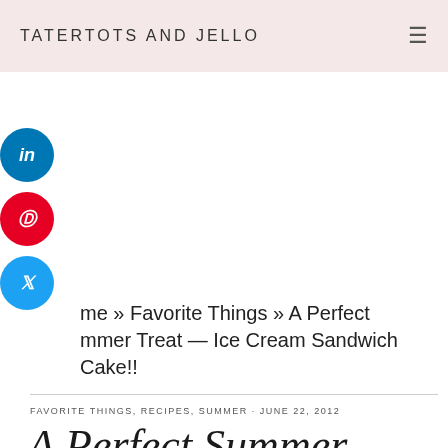TATERTOTS AND JELLO
[Figure (other): LinkedIn share button circle icon]
[Figure (other): Pinterest share button circle icon]
[Figure (other): Twitter share button circle icon]
me » Favorite Things » A Perfect mmer Treat — Ice Cream Sandwich Cake!!
FAVORITE THINGS, RECIPES, SUMMER · JUNE 22, 2012
A Perfect Summer Treat — Ice Cream Sandwich Cake!!